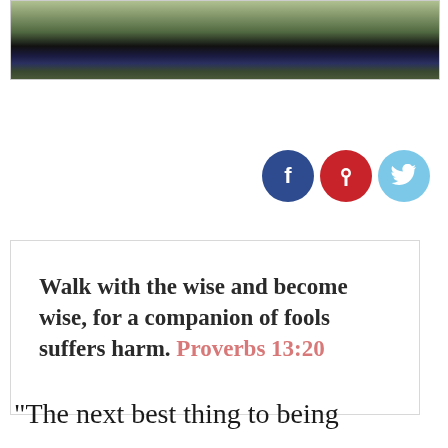[Figure (photo): Partial photo showing people's legs and lower bodies against a grassy background, cropped at top of page]
[Figure (infographic): Social sharing icons: Facebook (dark blue circle with f), Pinterest (red circle with pin icon), Twitter (light blue circle with bird icon)]
Walk with the wise and become wise, for a companion of fools suffers harm. Proverbs 13:20
“The next best thing to being